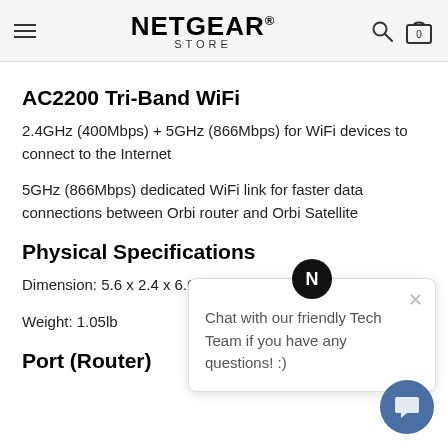NETGEAR STORE
AC2200 Tri-Band WiFi
2.4GHz (400Mbps) + 5GHz (866Mbps) for WiFi devices to connect to the Internet
5GHz (866Mbps) dedicated WiFi link for faster data connections between Orbi router and Orbi Satellite
Physical Specifications
Dimension: 5.6 x 2.4 x 6.6in
Weight: 1.05lb
Port (Router)
[Figure (screenshot): Chat popup with N badge saying 'Chat with our friendly Tech Team if you have any questions! :)' with a close X button]